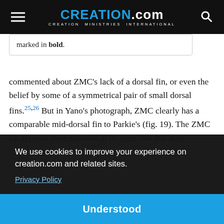CREATION.com — CREATION MINISTRIES INTERNATIONAL
marked in bold.
commented about ZMC's lack of a dorsal fin, or even the belief by some of a symmetrical pair of small dorsal fins.25,26 But in Yano's photograph, ZMC clearly has a comparable mid-dorsal fin to Parkie's (fig. 19). The ZMC fin appears more rounded at its apex, but this may simply be a result of the photography position, or possibly differences in experiences, etc., or
We use cookies to improve your experience on creation.com and related sites. Privacy Policy
Understood
Yano did not mention or draw any claspers on ZMC